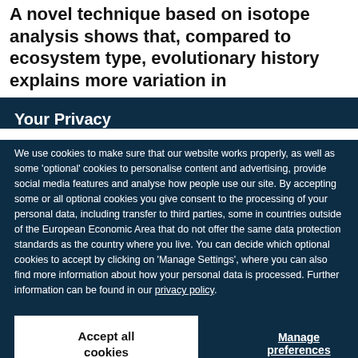A novel technique based on isotope analysis shows that, compared to ecosystem type, evolutionary history explains more variation in
Your Privacy
We use cookies to make sure that our website works properly, as well as some 'optional' cookies to personalise content and advertising, provide social media features and analyse how people use our site. By accepting some or all optional cookies you give consent to the processing of your personal data, including transfer to third parties, some in countries outside of the European Economic Area that do not offer the same data protection standards as the country where you live. You can decide which optional cookies to accept by clicking on 'Manage Settings', where you can also find more information about how your personal data is processed. Further information can be found in our privacy policy.
Accept all cookies
Manage preferences